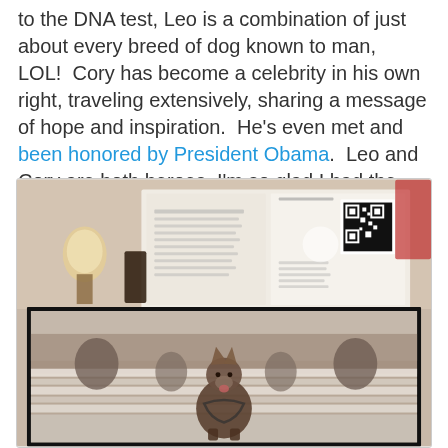to the DNA test, Leo is a combination of just about every breed of dog known to man, LOL!  Cory has become a celebrity in his own right, traveling extensively, sharing a message of hope and inspiration.  He's even met and been honored by President Obama.  Leo and Cory are both heroes, I'm so glad I had the opportunity to meet them!
[Figure (photo): A framed photograph of a dog (German Shepherd mix) sitting on snow-covered steps in an outdoor setting, displayed in front of an open book/display with text and a QR code, in what appears to be an indoor exhibit or event space with a lamp visible on the left.]